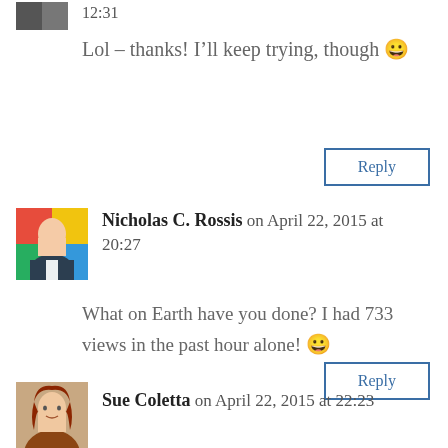12:31
Lol – thanks! I'll keep trying, though 😀
Reply
Nicholas C. Rossis on April 22, 2015 at 20:27
What on Earth have you done? I had 733 views in the past hour alone! 😀
Reply
Sue Coletta on April 22, 2015 at 22:23
Ha! Just helping a friend.
Reply